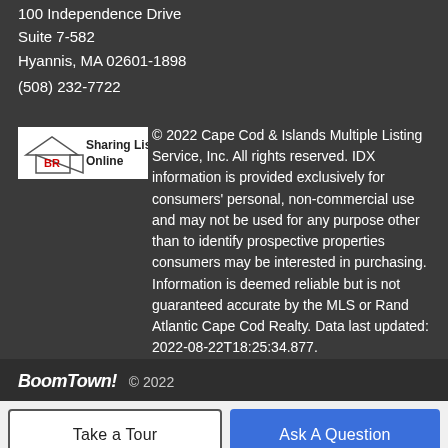100 Independence Drive
Suite 7-582
Hyannis, MA 02601-1898
(508) 232-7722
© 2022 Cape Cod & Islands Multiple Listing Service, Inc. All rights reserved. IDX information is provided exclusively for consumers' personal, non-commercial use and may not be used for any purpose other than to identify prospective properties consumers may be interested in purchasing. Information is deemed reliable but is not guaranteed accurate by the MLS or Rand Atlantic Cape Cod Realty. Data last updated: 2022-08-22T18:25:34.877.
BoomTown! © 2022
Take a Tour
Ask A Question